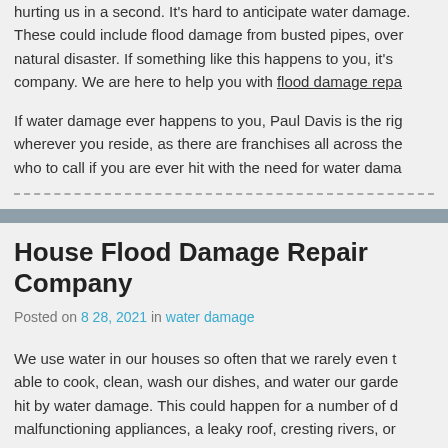hurting us in a second. It's hard to anticipate water damage. These could include flood damage from busted pipes, over natural disaster. If something like this happens to you, it's company. We are here to help you with flood damage repair
If water damage ever happens to you, Paul Davis is the right wherever you reside, as there are franchises all across the who to call if you are ever hit with the need for water damage
House Flood Damage Repair Company
Posted on 8 28, 2021 in water damage
We use water in our houses so often that we rarely even think about it. We are able to cook, clean, wash our dishes, and water our gardens because of water. hit by water damage. This could happen for a number of different reasons: malfunctioning appliances, a leaky roof, cresting rivers, or